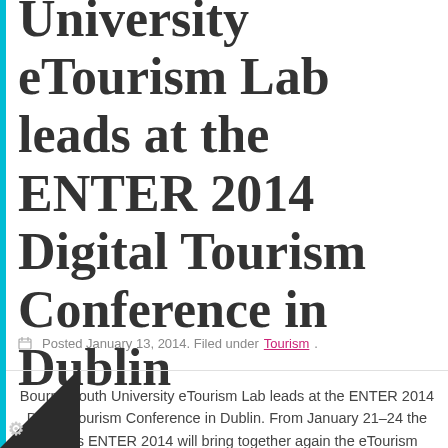University eTourism Lab leads at the ENTER 2014 Digital Tourism Conference in Dublin
Posted January 13, 2014. Filed under Tourism.
Bournemouth University eTourism Lab leads at the ENTER 2014 Digital Tourism Conference in Dublin. From January 21–24 the famous ENTER 2014 will bring together again the eTourism community from all over world for an exciting week full of eTourism events